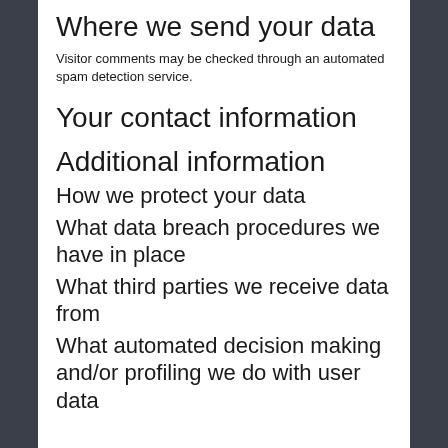Where we send your data
Visitor comments may be checked through an automated spam detection service.
Your contact information
Additional information
How we protect your data
What data breach procedures we have in place
What third parties we receive data from
What automated decision making and/or profiling we do with user data